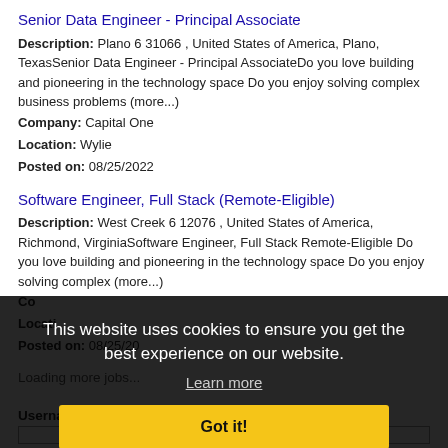Senior Data Engineer - Principal Associate
Description: Plano 6 31066 , United States of America, Plano, TexasSenior Data Engineer - Principal AssociateDo you love building and pioneering in the technology space Do you enjoy solving complex business problems (more...)
Company: Capital One
Location: Wylie
Posted on: 08/25/2022
Software Engineer, Full Stack (Remote-Eligible)
Description: West Creek 6 12076 , United States of America, Richmond, VirginiaSoftware Engineer, Full Stack Remote-Eligible Do you love building and pioneering in the technology space Do you enjoy solving complex (more...)
Company: Capital One
Location: Richmond
Posted on: 08/25/2022
Loading more jobs...
This website uses cookies to ensure you get the best experience on our website.
Learn more
Got it!
Log In or Create An Account
Username: